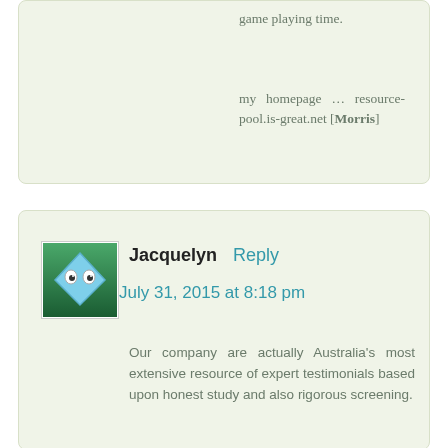game playing time.
my homepage … resource-pool.is-great.net [Morris]
[Figure (illustration): Avatar icon showing a blue diamond/envelope shape with cartoon eyes on green gradient background]
Jacquelyn   Reply
July 31, 2015 at 8:18 pm
Our company are actually Australia's most extensive resource of expert testimonials based upon honest study and also rigorous screening.